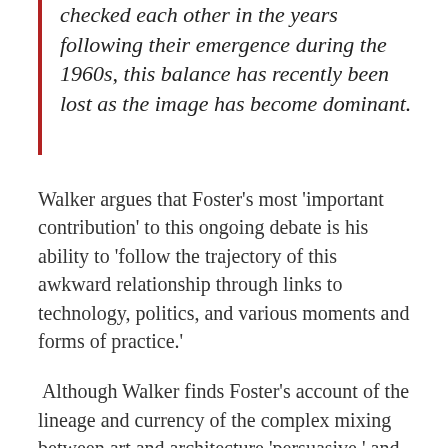checked each other in the years following their emergence during the 1960s, this balance has recently been lost as the image has become dominant.
Walker argues that Foster's most 'important contribution' to this ongoing debate is his ability to 'follow the trajectory of this awkward relationship through links to technology, politics, and various moments and forms of practice.'
Although Walker finds Foster's account of the lineage and currency of the complex mixing between art and architecture 'persuasive,' and his discussion of the links between the two disciplines 'nuanced,' he deems the book as a